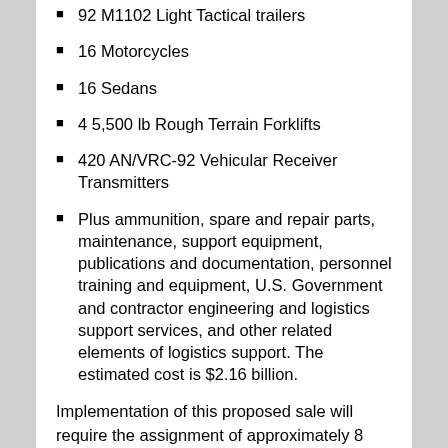92 M1102 Light Tactical trailers
16 Motorcycles
16 Sedans
4 5,500 lb Rough Terrain Forklifts
420 AN/VRC-92 Vehicular Receiver Transmitters
Plus ammunition, spare and repair parts, maintenance, support equipment, publications and documentation, personnel training and equipment, U.S. Government and contractor engineering and logistics support services, and other related elements of logistics support. The estimated cost is $2.16 billion.
Implementation of this proposed sale will require the assignment of approximately 8 U.S. Government and 35 contractor representatives to Iraq for up to 4 years.